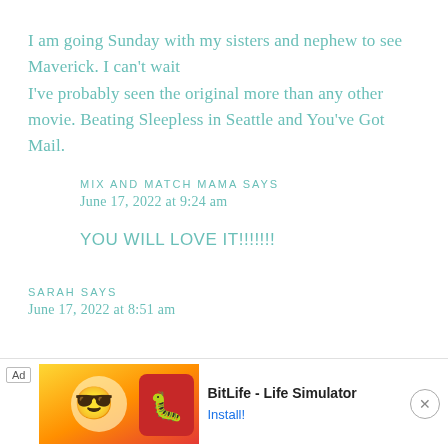I am going Sunday with my sisters and nephew to see Maverick. I can't wait
I've probably seen the original more than any other movie. Beating Sleepless in Seattle and You've Got Mail.
MIX AND MATCH MAMA SAYS
June 17, 2022 at 9:24 am
YOU WILL LOVE IT!!!!!!!
SARAH SAYS
June 17, 2022 at 8:51 am
[Figure (screenshot): Mobile advertisement banner for BitLife - Life Simulator app with colorful cartoon imagery, sperm icon logo, red background icon, and Install button]